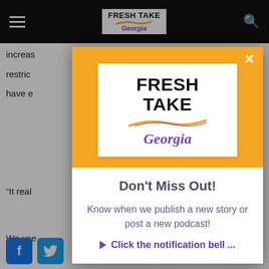Fresh Take Georgia navigation bar
increas
restric
have e
“It real
We use
[Figure (logo): Fresh Take Georgia logo with swoosh graphic in modal popup on yellow background]
Don't Miss Out!
Know when we publish a new story or post a new podcast!
► Click the notification bell ...